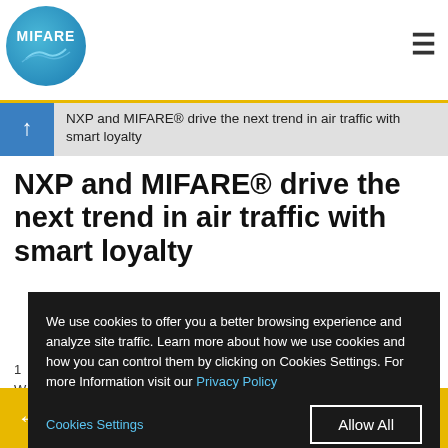MIFARE logo and navigation
NXP and MIFARE® drive the next trend in air traffic with smart loyalty
NXP and MIFARE® drive the next trend in air traffic with smart loyalty
We use cookies to offer you a better browsing experience and analyze site traffic. Learn more about how we use cookies and how you can control them by clicking on Cookies Settings. For more Information visit our Privacy Policy
Picture: Networking attendees enjoyed an amazing view Bangkok, Copyright Loyalty 2016